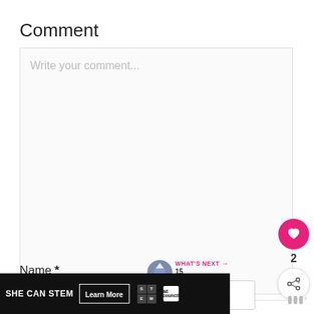Comment
Write your comment...
[Figure (other): Pink circular like/heart button with heart icon, count of 2 below, and a white circular share button]
Name *
Name
[Figure (other): WHAT'S NEXT arrow label in pink, castle thumbnail image, text: 15 Inexpensive...]
[Figure (other): Ad banner: SHE CAN STEM | Learn More button | STEM logo | Ad Council logo]
[Figure (logo): Moat analytics logo (III degree symbol)]